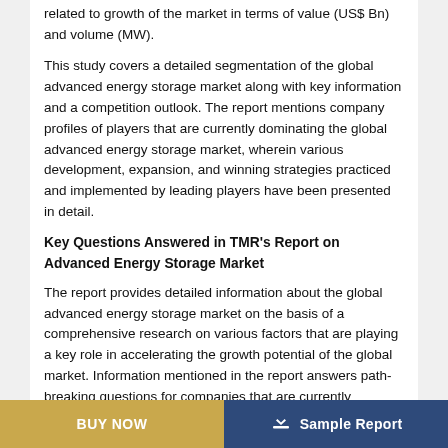related to growth of the market in terms of value (US$ Bn) and volume (MW).
This study covers a detailed segmentation of the global advanced energy storage market along with key information and a competition outlook. The report mentions company profiles of players that are currently dominating the global advanced energy storage market, wherein various development, expansion, and winning strategies practiced and implemented by leading players have been presented in detail.
Key Questions Answered in TMR's Report on Advanced Energy Storage Market
The report provides detailed information about the global advanced energy storage market on the basis of a comprehensive research on various factors that are playing a key role in accelerating the growth potential of the global market. Information mentioned in the report answers path-breaking questions for companies that are currently
BUY NOW    Sample Report